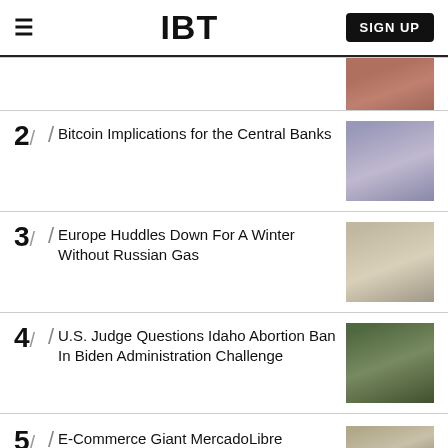IBT — SIGN UP
2/ Bitcoin Implications for the Central Banks
3/ Europe Huddles Down For A Winter Without Russian Gas
4/ U.S. Judge Questions Idaho Abortion Ban In Biden Administration Challenge
5/ E-Commerce Giant MercadoLibre Introduces Its